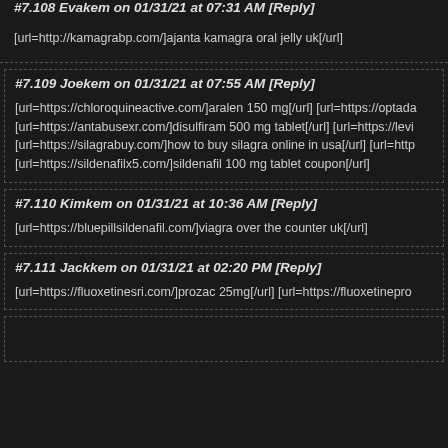#7.108 Evakem on 01/31/21 at 07:31 AM [Reply]
[url=http://kamagrabp.com/]ajanta kamagra oral jelly uk[/url]
#7.109 Joekem on 01/31/21 at 07:55 AM [Reply]
[url=https://chloroquineactive.com/]aralen 150 mg[/url] [url=https://optada... [url=https://antabusexr.com/]disulfiram 500 mg tablet[/url] [url=https://levi... [url=https://silagrabuy.com/]how to buy silagra online in usa[/url] [url=http... [url=https://sildenafilx5.com/]sildenafil 100 mg tablet coupon[/url]
#7.110 Kimkem on 01/31/21 at 10:36 AM [Reply]
[url=https://bluepillsildenafil.com/]viagra over the counter uk[/url]
#7.111 Jackkem on 01/31/21 at 02:20 PM [Reply]
[url=https://fluoxetinesri.com/]prozac 25mg[/url] [url=https://fluoxetinepro...
(partial comment block continues)